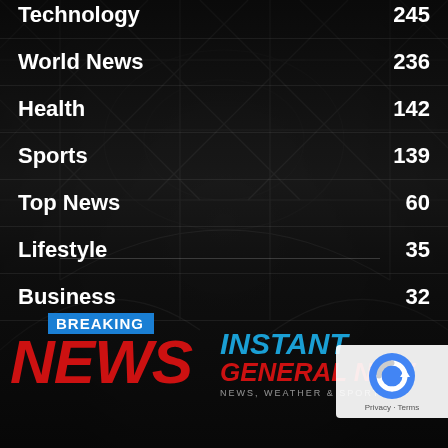Technology  245
World News  236
Health  142
Sports  139
Top News  60
Lifestyle  35
Business  32
[Figure (logo): Breaking News logo — red NEWS text with blue BREAKING tag above]
[Figure (logo): INSTANT / GENERAL NEWS logo with news weather & sports tagline]
[Figure (other): reCAPTCHA badge — Privacy Terms]